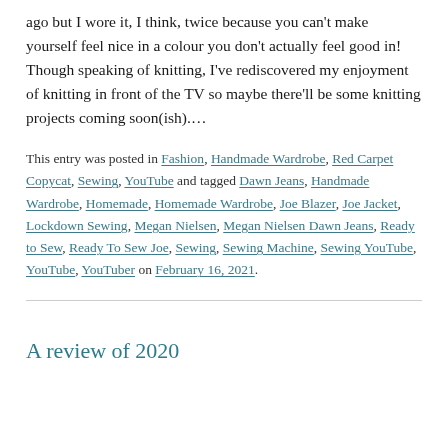ago but I wore it, I think, twice because you can't make yourself feel nice in a colour you don't actually feel good in! Though speaking of knitting, I've rediscovered my enjoyment of knitting in front of the TV so maybe there'll be some knitting projects coming soon(ish).…
This entry was posted in Fashion, Handmade Wardrobe, Red Carpet Copycat, Sewing, YouTube and tagged Dawn Jeans, Handmade Wardrobe, Homemade, Homemade Wardrobe, Joe Blazer, Joe Jacket, Lockdown Sewing, Megan Nielsen, Megan Nielsen Dawn Jeans, Ready to Sew, Ready To Sew Joe, Sewing, Sewing Machine, Sewing YouTube, YouTube, YouTuber on February 16, 2021.
A review of 2020